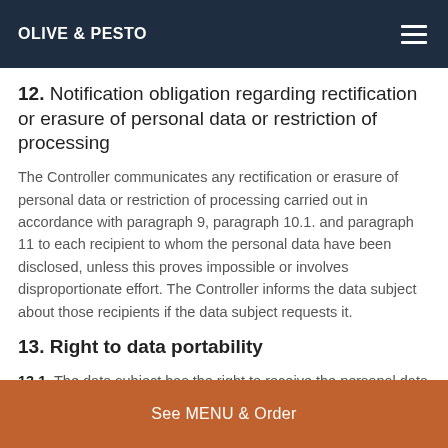OLIVE & PESTO
12. Notification obligation regarding rectification or erasure of personal data or restriction of processing
The Controller communicates any rectification or erasure of personal data or restriction of processing carried out in accordance with paragraph 9, paragraph 10.1. and paragraph 11 to each recipient to whom the personal data have been disclosed, unless this proves impossible or involves disproportionate effort. The Controller informs the data subject about those recipients if the data subject requests it.
13. Right to data portability
13.1. The data subject has the right to receive the personal data concerning him or her, which he or she has provided to
See MENU & Order